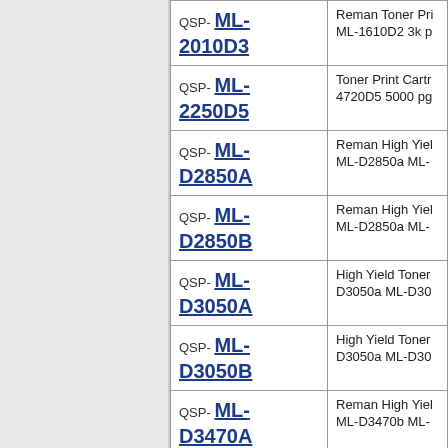| SKU | Description |
| --- | --- |
| QSP- ML-2010D3 | Reman Toner Pri ML-1610D2 3k p |
| QSP- ML-2250D5 | Toner Print Cartr 4720D5 5000 pg |
| QSP- ML-D2850A | Reman High Yiel ML-D2850a ML- |
| QSP- ML-D2850B | Reman High Yiel ML-D2850a ML- |
| QSP- ML-D3050A | High Yield Toner D3050a ML-D30 |
| QSP- ML-D3050B | High Yield Toner D3050a ML-D30 |
| QSP- ML-D3470A | Reman High Yiel ML-D3470b ML- |
| QSP- ML-D3470B | Reman High Yiel ML-D3470b ML- |
| QSP- ML-D4550A | Reman High Yiel ML-D4550b ML- |